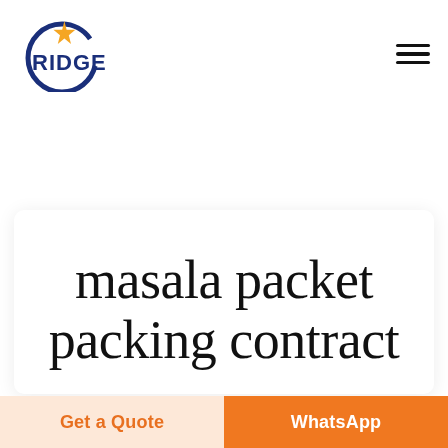[Figure (logo): Ridge company logo: orange/gold 4-pointed star with navy blue circular arc and bold navy text 'RIDGE']
masala packet packing contract
Get a Quote
WhatsApp